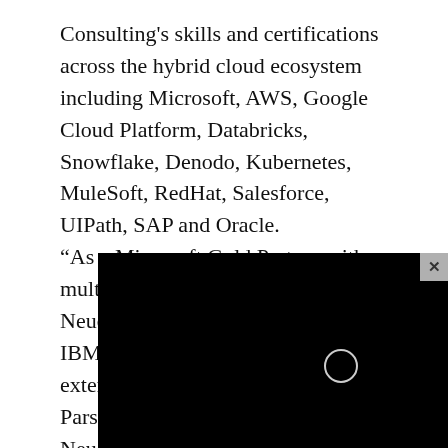Consulting's skills and certifications across the hybrid cloud ecosystem including Microsoft, AWS, Google Cloud Platform, Databricks, Snowflake, Denodo, Kubernetes, MuleSoft, RedHat, Salesforce, UIPath, SAP and Oracle. “As a Microsoft Gold Partner with multiple Azure competencies, Neudesic is excited to enhance IBM’s hybrid cloud strategy with extensive Azure capabilities,” said Parsa Rohani, Co-Founder and CEO, Neudesic. “The combination of our capabilities with IBM’s hybrid cloud vision and scale will drive even more impactful innovation for clie[nts.”] Financial details of the deal were n[ot disclosed.] IBM and Neudesic signed a definit[ive agreement] leading to today’s acquisition in IB[M Consulting,] [sep]tember 2021
[Figure (other): Black overlay rectangle partially covering the text, with a small circle/loading indicator visible in the center, and an X close button in the top-right corner of the overlay.]